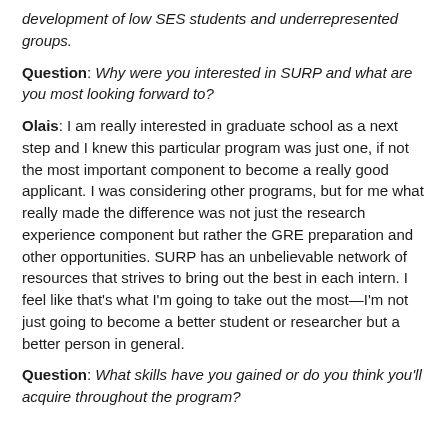development of low SES students and underrepresented groups.
Question: Why were you interested in SURP and what are you most looking forward to?
Olais: I am really interested in graduate school as a next step and I knew this particular program was just one, if not the most important component to become a really good applicant. I was considering other programs, but for me what really made the difference was not just the research experience component but rather the GRE preparation and other opportunities. SURP has an unbelievable network of resources that strives to bring out the best in each intern. I feel like that's what I'm going to take out the most—I'm not just going to become a better student or researcher but a better person in general.
Question: What skills have you gained or do you think you'll acquire throughout the program?